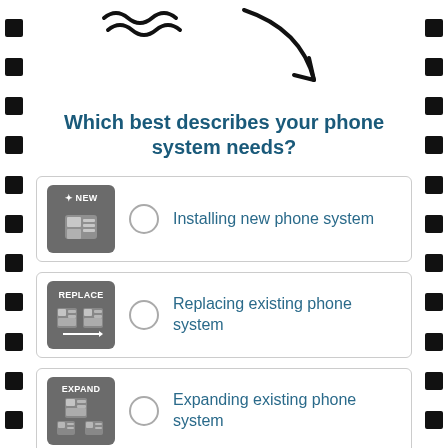[Figure (illustration): Decorative arrow illustration pointing down at top of page]
Which best describes your phone system needs?
Installing new phone system
Replacing existing phone system
Expanding existing phone system